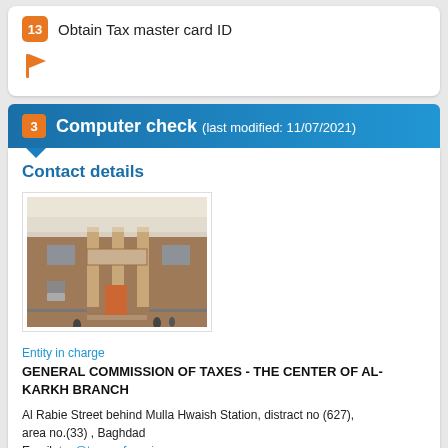13  Obtain Tax master card ID
[Figure (other): Orange flag/bookmark icon]
3  Computer check (last modified: 11/07/2021)
Contact details
[Figure (photo): Photo of a brick government building exterior with columns and people at entrance]
Entity in charge
GENERAL COMMISSION OF TAXES - THE CENTER OF AL-KARKH BRANCH
Al Rabie Street behind Mulla Hwaish Station, distract no (627), area no.(33) , Baghdad
Email: tax@tax.mof.gov.iq